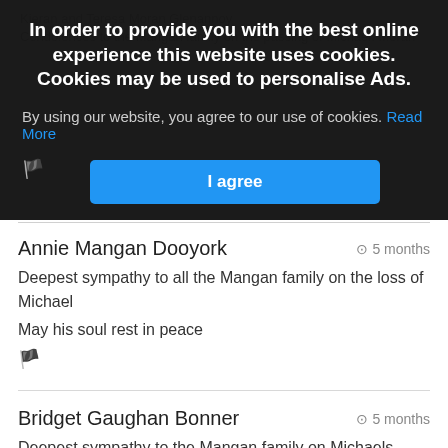Kieran and Teresa Moran Glenannoy. Condolences to the family on the passing of Michael Moran.
In order to provide you with the best online experience this website uses cookies. Cookies may be used to personalise Ads.
By using our website, you agree to our use of cookies. Read More
I agree
Annie Mangan Dooyork
5 months
Deepest sympathy to all the Mangan family on the loss of Michael

May his soul rest in peace
Bridget Gaughan Bonner
5 months
Deepest sympathy to the Mangan family on Michaels passing.

May he rest in peace